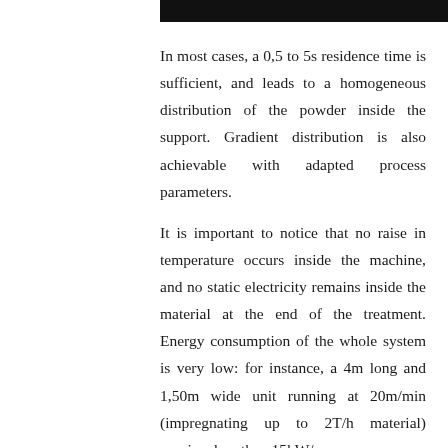[Figure (other): Black horizontal bar at top of page]
In most cases, a 0,5 to 5s residence time is sufficient, and leads to a homogeneous distribution of the powder inside the support. Gradient distribution is also achievable with adapted process parameters.
It is important to notice that no raise in temperature occurs inside the machine, and no static electricity remains inside the material at the end of the treatment. Energy consumption of the whole system is very low: for instance, a 4m long and 1,50m wide unit running at 20m/min (impregnating up to 2T/h material) requires less than 15kW/